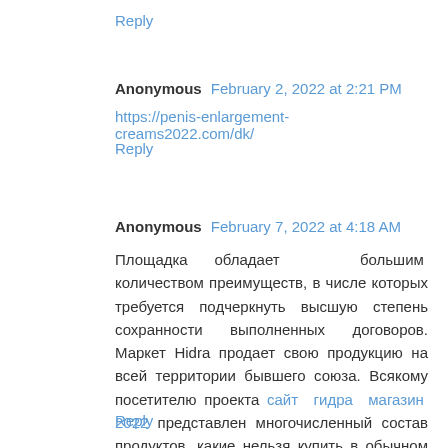Reply
Anonymous  February 2, 2022 at 2:21 PM
https://penis-enlargement-creams2022.com/dk/
Reply
Anonymous  February 7, 2022 at 4:18 AM
Площадка обладает большим количеством преимуществ, в числе которых требуется подчеркнуть высшую степень сохранности выполненных договоров. Маркет Hidra продает свою продукцию на всей территории бывшего союза. Всякому посетителю проекта сайт гидра магазин 2022 представлен многочисленный состав продуктов, какие нельзя купить в обычном магазине.
Reply